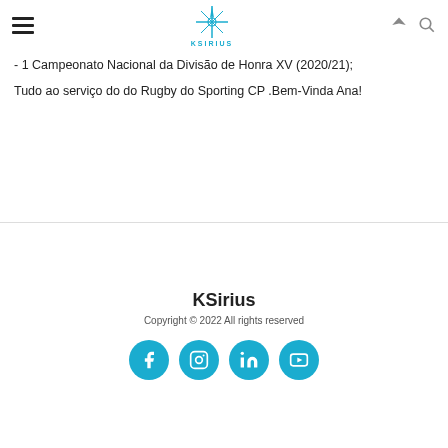KSIRIUS navigation header with hamburger menu, logo, location and search icons
- 1 Campeonato Nacional da Divisão de Honra XV (2020/21);
Tudo ao serviço do do Rugby do Sporting CP .Bem-Vinda Ana!
KSirius
Copyright © 2022 All rights reserved
[Figure (other): Four social media icon circles (Facebook, Instagram, LinkedIn, YouTube) in teal/cyan color]